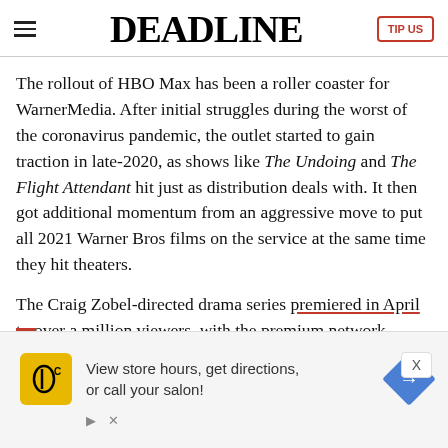DEADLINE | TIP US
The rollout of HBO Max has been a roller coaster for WarnerMedia. After initial struggles during the worst of the coronavirus pandemic, the outlet started to gain traction in late-2020, as shows like The Undoing and The Flight Attendant hit just as distribution deals with. It then got additional momentum from an aggressive move to put all 2021 Warner Bros films on the service at the same time they hit theaters.
The Craig Zobel-directed drama series premiered in April to over a million viewers, with the premium network saying its the second-best series to debut on HBO Max.
[Figure (infographic): Advertisement banner: HC (Hair Club) logo on yellow background, text 'View store hours, get directions, or call your salon!' with blue diamond direction arrow icon, and ad controls (play and close buttons). X dismiss button in upper right.]